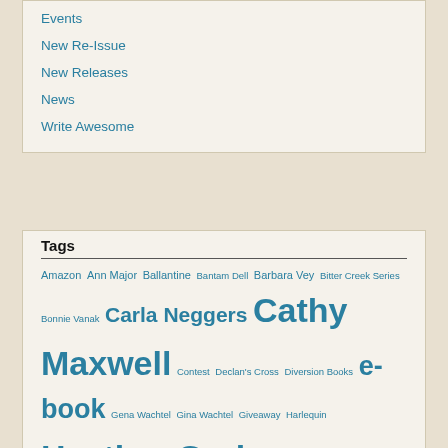Events
New Re-Issue
New Releases
News
Write Awesome
Tags
Amazon Ann Major Ballantine Bantam Dell Barbara Vey Bitter Creek Series Bonnie Vanak Carla Neggers Cathy Maxwell Contest Declan's Cross Diversion Books e-book Gena Wachtel Gina Wachtel Giveaway Harlequin Heather Graham Jane Bonander Joan Johnston Jude Deveraux Krewe of Hunters Linda Marrow Lisa Goletz Maria Carvainis Mary Burton New Release News Paul Levine Random House re-issue Romance Writers of America RWA RWA 2011 conference Shauna Summers Susan Elizabeth Phillips suspense Suzanne Brockmann tag1 The Barefoot Bride The Hexed thriller Waking The Dead writing style writing tips You're Not Safe